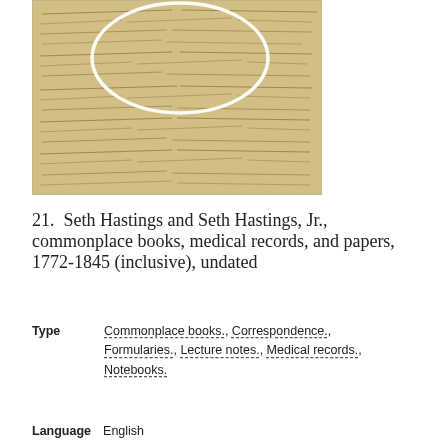[Figure (photo): Photograph of an old handwritten manuscript page with dense cursive text and a white oval highlight/circle drawn over part of the text.]
21.  Seth Hastings and Seth Hastings, Jr., commonplace books, medical records, and papers, 1772-1845 (inclusive), undated
Type   Commonplace books., Correspondence., Formularies., Lecture notes., Medical records., Notebooks.
Language   English